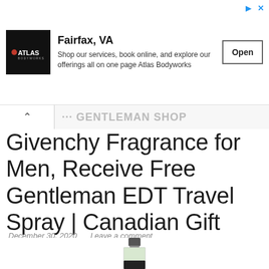[Figure (other): Atlas Bodyworks advertisement banner showing logo, Fairfax VA location, description text, and Open button]
Givenchy Fragrance for Men, Receive Free Gentleman EDT Travel Spray | Canadian Gift with Purchase Offer
December 30, 2020   Leave a comment
[Figure (photo): Givenchy Gentleman EDT travel spray fragrance bottle with silver cap on white background]